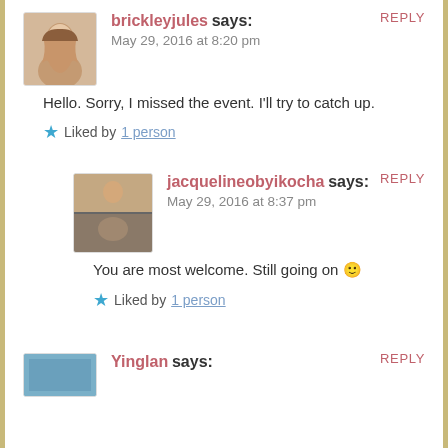REPLY
brickleyjules says:
May 29, 2016 at 8:20 pm
Hello. Sorry, I missed the event. I'll try to catch up.
Liked by 1 person
REPLY
jacquelineobyikocha says:
May 29, 2016 at 8:37 pm
You are most welcome. Still going on 🙂
Liked by 1 person
REPLY
Yinglan says: